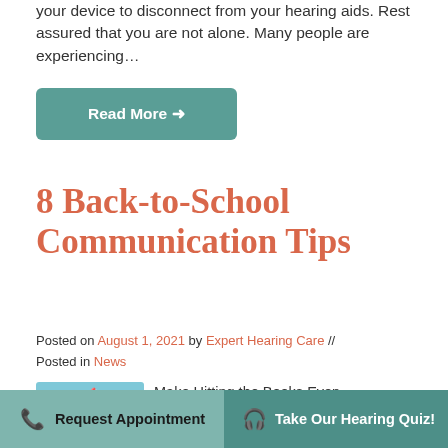your device to disconnect from your hearing aids. Rest assured that you are not alone. Many people are experiencing…
Read More →
8 Back-to-School Communication Tips
Posted on August 1, 2021 by Expert Hearing Care // Posted in News
[Figure (illustration): Thumbnail image with school/back-to-school illustration on blue background]
Make Hitting the Books Even Easier With These Helpful Tips...
Request Appointment   Take Our Hearing Quiz!